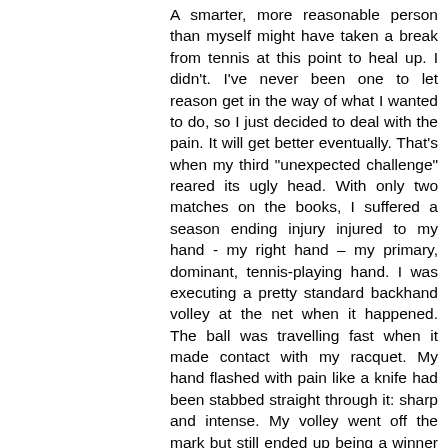A smarter, more reasonable person than myself might have taken a break from tennis at this point to heal up. I didn't. I've never been one to let reason get in the way of what I wanted to do, so I just decided to deal with the pain. It will get better eventually. That's when my third "unexpected challenge" reared its ugly head. With only two matches on the books, I suffered a season ending injury injured to my hand - my right hand – my primary, dominant, tennis-playing hand. I was executing a pretty standard backhand volley at the net when it happened. The ball was travelling fast when it made contact with my racquet. My hand flashed with pain like a knife had been stabbed straight through it: sharp and intense. My volley went off the mark but still ended up being a winner which was good because that would prove to be the last winner that I would hit for quite some time. The intensity of the pain caused me to involuntarily drop my racquet (sorry, Babolat). I tried to work out the pain by rubbing it, but every time I squeezed my racket handle, my hand would involuntarily lock up and become painful and useless. At first I thought it was some kind of cramp, so I downed